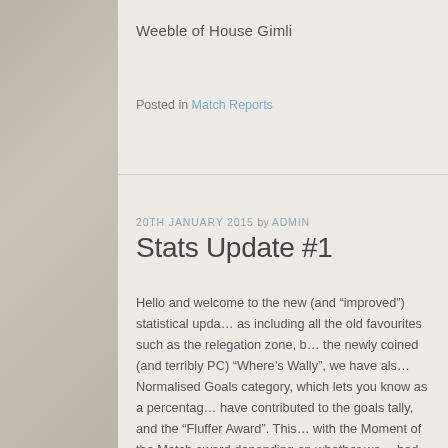Weeble of House Gimli
Posted in Match Reports
20TH JANUARY 2015 by ADMIN
Stats Update #1
Hello and welcome to the new (and “improved”) statistical upda… as including all the old favourites such as the relegation zone, b… the newly coined (and terribly PC) “Where’s Wally”, we have als… Normalised Goals category, which lets you know as a percentag… have contributed to the goals tally, and the “Fluffer Award”. This… with the Moment of the Match award depending on whether we… bad game…